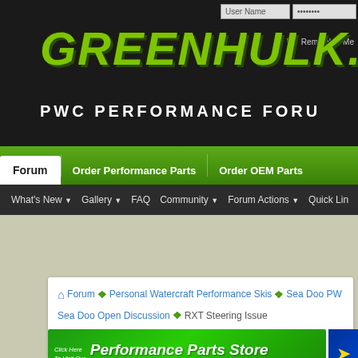[Figure (screenshot): GreenHulk.net PWC Performance Forum website header banner with green logo text on dark background]
User Name | Password | Remember Me
GREENHULK.NET
PWC PERFORMANCE FORUM
Forum | Order Performance Parts | Order OEM Parts
What's New | Gallery | FAQ | Community | Forum Actions | Quick Links
Forum > Personal Watercraft Performance Skis > Sea Doo PWC > Sea Doo Open Discussion > RXT Steering Issue
[Figure (screenshot): Performance Parts Store banner ad - PWCPERFORMANCE.COM]
Sponsored Links